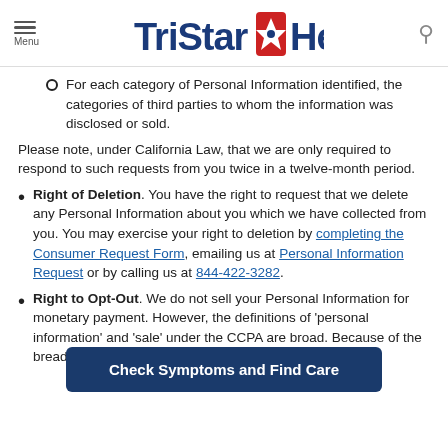TriStar Health
For each category of Personal Information identified, the categories of third parties to whom the information was disclosed or sold.
Please note, under California Law, that we are only required to respond to such requests from you twice in a twelve-month period.
Right of Deletion. You have the right to request that we delete any Personal Information about you which we have collected from you. You may exercise your right to deletion by completing the Consumer Request Form, emailing us at Personal Information Request or by calling us at 844-422-3282.
Right to Opt-Out. We do not sell your Personal Information for monetary payment. However, the definitions of 'personal information' and 'sale' under the CCPA are broad. Because of the breadth of these definitions under the CCPA, we have
Check Symptoms and Find Care